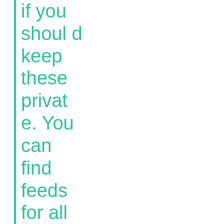if you should keep these private. You can find feeds for all of your profiles into your notification settin